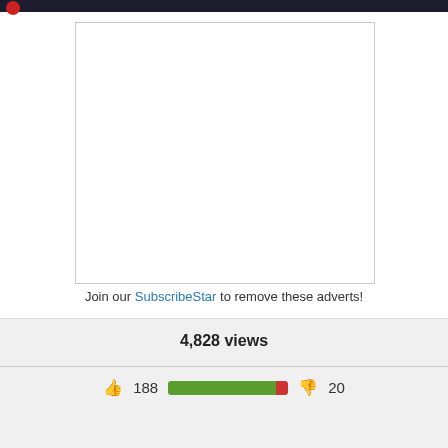[Figure (other): Advertisement placeholder — white rectangle with border]
Join our SubscribeStar to remove these adverts!
4,828 views
188  [like-dislike bar]  20